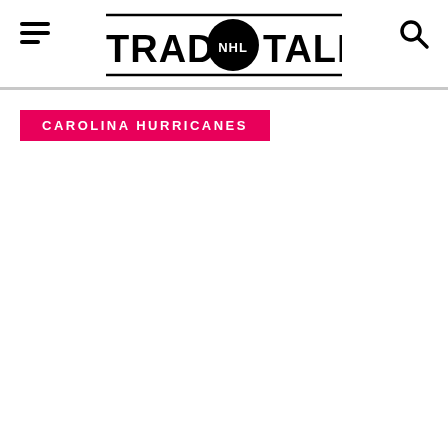Trade NHL Talk
CAROLINA HURRICANES